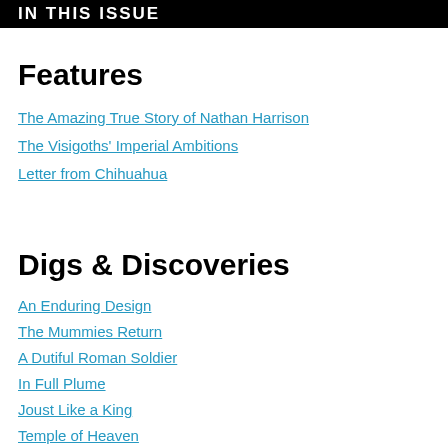IN THIS ISSUE
Features
The Amazing True Story of Nathan Harrison
The Visigoths' Imperial Ambitions
Letter from Chihuahua
Digs & Discoveries
An Enduring Design
The Mummies Return
A Dutiful Roman Soldier
In Full Plume
Joust Like a King
Temple of Heaven
Lady Killer